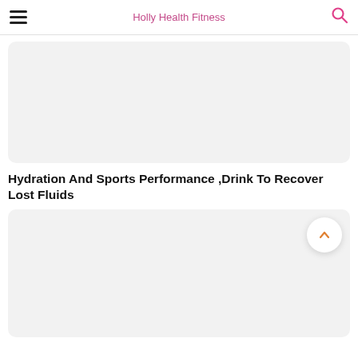Holly Health Fitness
[Figure (photo): Large light grey placeholder image card with rounded corners]
Hydration And Sports Performance ,Drink To Recover Lost Fluids
[Figure (photo): Light grey placeholder image card with rounded corners and a white circular scroll-to-top button with orange chevron arrow in the top right corner]